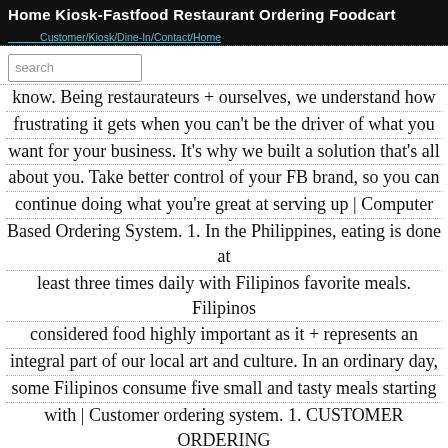Home  Kiosk-Fastfood  Restaurant Ordering  Foodcart
Being restaurateurs + ourselves, we understand how frustrating it gets when you can't be the driver of what you want for your business. It's why we built a solution that's all about you. Take better control of your FB brand, so you can continue doing what you're great at serving up | Computer Based Ordering System. 1. In the Philippines, eating is done at least three times daily with Filipinos favorite meals. Filipinos considered food highly important as it + represents an integral part of our local art and culture. In an ordinary day, some Filipinos consume five small and tasty meals starting with | Customer ordering system. 1. CUSTOMER ORDERING SYSTEM 2. INTRODUCTION This chapter aims to describe the project background, problem + statement, objectives, scopes, project significance and expected output of the system. The system is Customer Ordering System. This is